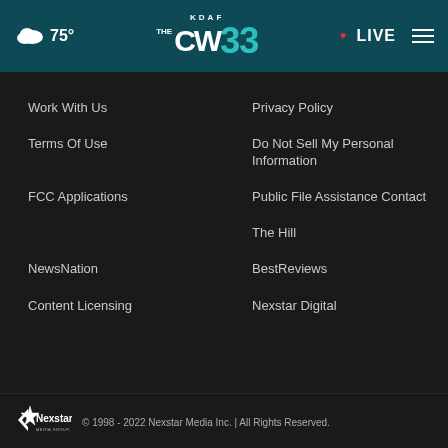KDAF CW33 - 75° LIVE
Work With Us
Privacy Policy
Terms Of Use
Do Not Sell My Personal Information
FCC Applications
Public File Assistance Contact
The Hill
NewsNation
BestReviews
Content Licensing
Nexstar Digital
© 1998 - 2022 Nexstar Media Inc. | All Rights Reserved.